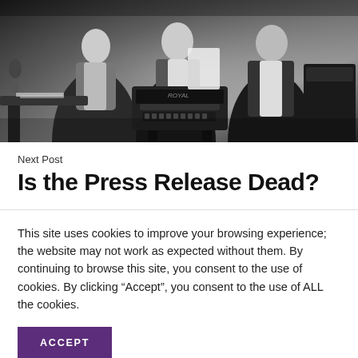[Figure (photo): Black and white vintage photograph of men in formal attire working around a Royal typewriter in what appears to be a newsroom or office setting.]
Next Post
Is the Press Release Dead?
This site uses cookies to improve your browsing experience; the website may not work as expected without them. By continuing to browse this site, you consent to the use of cookies. By clicking “Accept”, you consent to the use of ALL the cookies.
ACCEPT